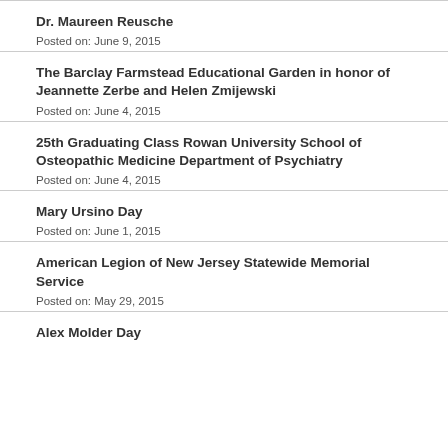Dr. Maureen Reusche
Posted on: June 9, 2015
The Barclay Farmstead Educational Garden in honor of Jeannette Zerbe and Helen Zmijewski
Posted on: June 4, 2015
25th Graduating Class Rowan University School of Osteopathic Medicine Department of Psychiatry
Posted on: June 4, 2015
Mary Ursino Day
Posted on: June 1, 2015
American Legion of New Jersey Statewide Memorial Service
Posted on: May 29, 2015
Alex Molder Day